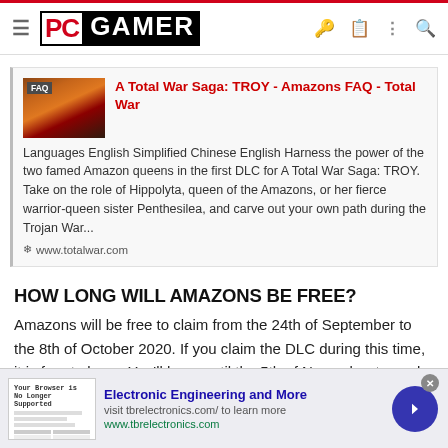PC GAMER
[Figure (screenshot): Search result card for 'A Total War Saga: TROY - Amazons FAQ - Total War' with thumbnail image, red title link, description text about Amazon queens DLC, and totalwar.com URL]
HOW LONG WILL AMAZONS BE FREE?
Amazons will be free to claim from the 24th of September to the 8th of October 2020. If you claim the DLC during this time, it is free to keep. You'll have until the 5th of November to apply your product code to your account.
[Figure (screenshot): Advertisement banner: Electronic Engineering and More - visit tbrelectronics.com/ to learn more - www.tbrelectronics.com]